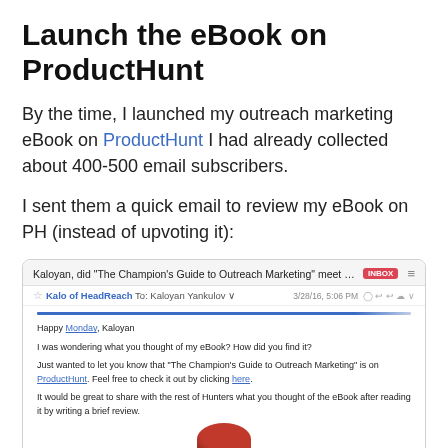Launch the eBook on ProductHunt
By the time, I launched my outreach marketing eBook on ProductHunt I had already collected about 400-500 email subscribers.
I sent them a quick email to review my eBook on PH (instead of upvoting it):
[Figure (screenshot): Screenshot of an email from Kalo of HeadReach asking Kaloyan Yankulov if 'The Champion's Guide to Outreach Marketing' met their expectations, with a blue progress bar at top, greeting 'Happy Monday, Kaloyan', body text asking about the eBook, mentioning it is on ProductHunt with links to ProductHunt and 'here', and a request to write a brief review for Hunters.]